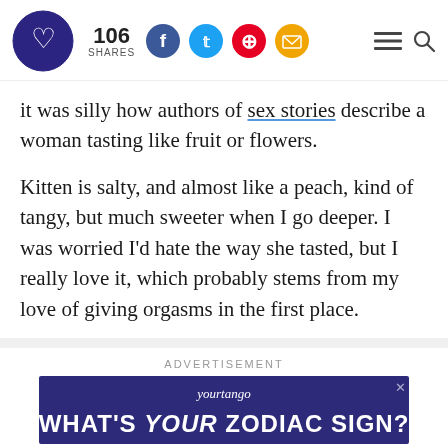106 SHARES [social icons: Facebook, Twitter, Pinterest, Email] [hamburger menu] [search]
it was silly how authors of sex stories describe a woman tasting like fruit or flowers.
Kitten is salty, and almost like a peach, kind of tangy, but much sweeter when I go deeper. I was worried I’d hate the way she tasted, but I really love it, which probably stems from my love of giving orgasms in the first place.
ADVERTISEMENT
[Figure (other): YourTango advertisement banner: WHAT'S YOUR ZODIAC SIGN?]